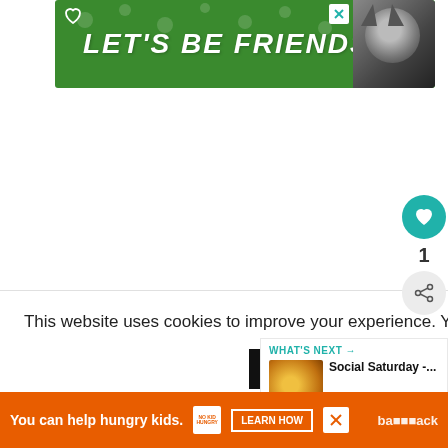[Figure (illustration): Green banner advertisement with text LET'S BE FRIENDS, a husky dog image on the right, and a heart icon on the upper left. Close button (X) in top-right corner.]
[Figure (screenshot): Cookie consent overlay showing: 'This website uses cookies to improve your experience. You can choose to opt-out if you wish.' with Accept and Reject buttons and a Read More link.]
ent the bet. h ... t going to the nd appealing
[Figure (infographic): Sidebar social actions: teal heart circle button, number 1, and share icon circle.]
[Figure (screenshot): What's Next widget showing 'WHAT'S NEXT →' label and 'Social Saturday -...' title with thumbnail image.]
[Figure (illustration): Orange bottom banner ad: 'You can help hungry kids.' with No Kid Hungry logo, LEARN HOW button, close X button, and 'back' text with brandcrack watermark.]